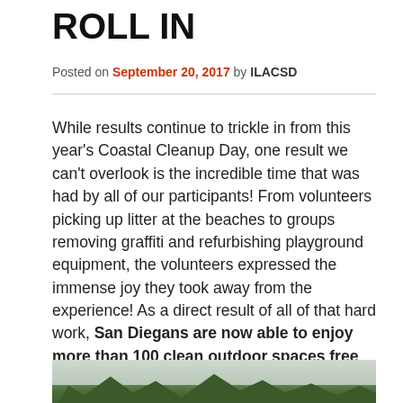ROLL IN
Posted on September 20, 2017 by ILACSD
While results continue to trickle in from this year's Coastal Cleanup Day, one result we can't overlook is the incredible time that was had by all of our participants! From volunteers picking up litter at the beaches to groups removing graffiti and refurbishing playground equipment, the volunteers expressed the immense joy they took away from the experience! As a direct result of all of that hard work, San Diegans are now able to enjoy more than 100 clean outdoor spaces free of litter!
[Figure (photo): Outdoor scene with trees against a cloudy sky]